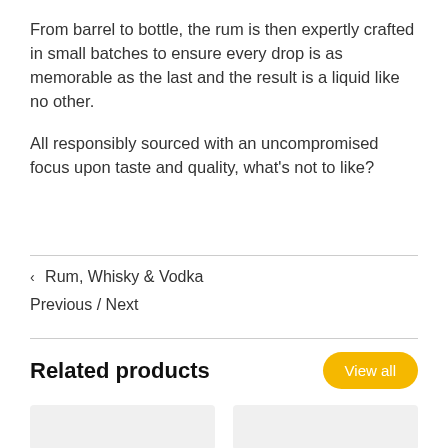From barrel to bottle, the rum is then expertly crafted in small batches to ensure every drop is as memorable as the last and the result is a liquid like no other.

All responsibly sourced with an uncompromised focus upon taste and quality, what's not to like?
‹ Rum, Whisky & Vodka
Previous / Next
Related products